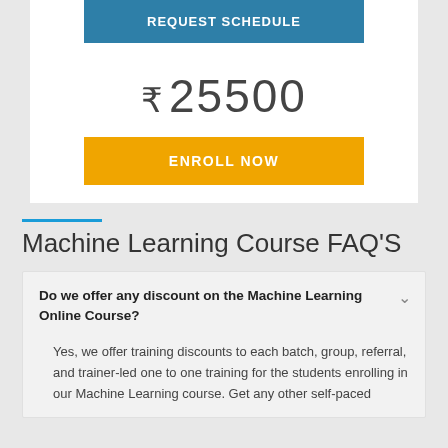REQUEST SCHEDULE
₹ 25500
ENROLL NOW
Machine Learning Course FAQ'S
Do we offer any discount on the Machine Learning Online Course?
Yes, we offer training discounts to each batch, group, referral, and trainer-led one to one training for the students enrolling in our Machine Learning course. Get any other self-paced